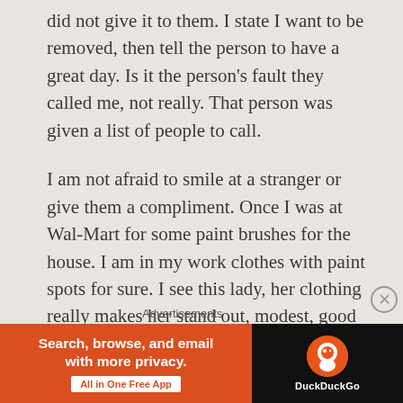did not give it to them. I state I want to be removed, then tell the person to have a great day. Is it the person's fault they called me, not really. That person was given a list of people to call.
I am not afraid to smile at a stranger or give them a compliment. Once I was at Wal-Mart for some paint brushes for the house. I am in my work clothes with paint spots for sure. I see this lady, her clothing really makes her stand out, modest, good colors for her, and perfect makeup and jewelry. I walked up and told her she looked very beautiful today. First reaction was shock and why
Advertisements
[Figure (other): DuckDuckGo advertisement banner: orange left panel with text 'Search, browse, and email with more privacy. All in One Free App' and dark right panel with DuckDuckGo logo and name.]